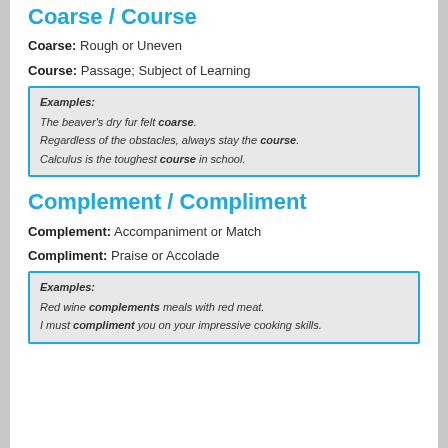Coarse / Course
Coarse: Rough or Uneven
Course: Passage; Subject of Learning
Examples:
The beaver's dry fur felt coarse.
Regardless of the obstacles, always stay the course.
Calculus is the toughest course in school.
Complement / Compliment
Complement: Accompaniment or Match
Compliment: Praise or Accolade
Examples:
Red wine complements meals with red meat.
I must compliment you on your impressive cooking skills.